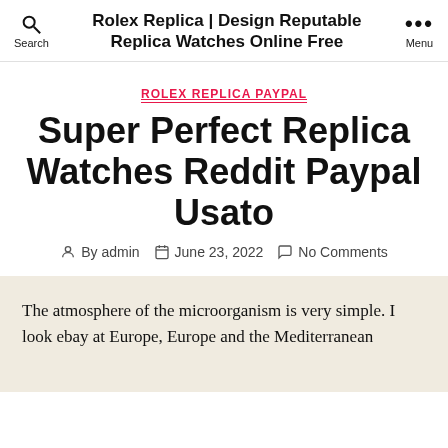Rolex Replica | Design Reputable Replica Watches Online Free
ROLEX REPLICA PAYPAL
Super Perfect Replica Watches Reddit Paypal Usato
By admin   June 23, 2022   No Comments
The atmosphere of the microorganism is very simple. I look ebay at Europe, Europe and the Mediterranean